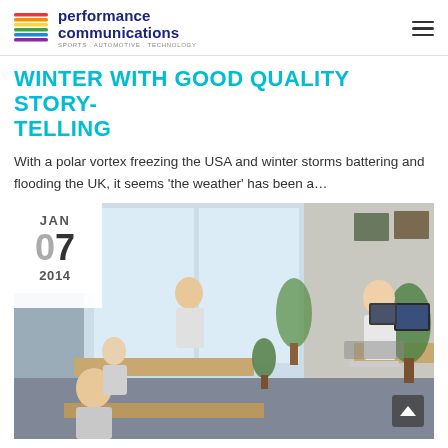performance communications — SPORTS . AUTOMOTIVE . TECHNOLOGY
WINTER WITH GOOD QUALITY STORY-TELLING
With a polar vortex freezing the USA and winter storms battering and flooding the UK, it seems ‘the weather’ has been a…
[Figure (photo): Office photo showing people working at desks with computers, plants in background, windows with natural light. Date badge overlay shows JAN 07 2014.]